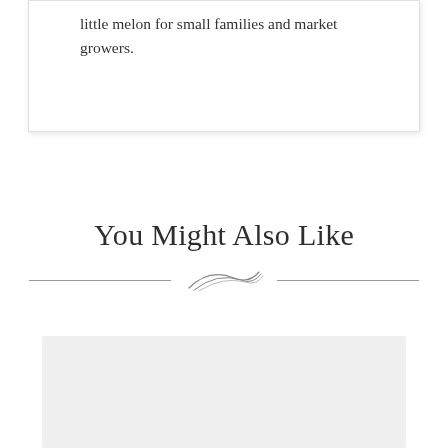little melon for small families and market growers.
You Might Also Like
[Figure (illustration): Decorative ornament divider with curved feather/leaf flourish between two horizontal lines]
[Figure (photo): Light gray image placeholder rectangle]